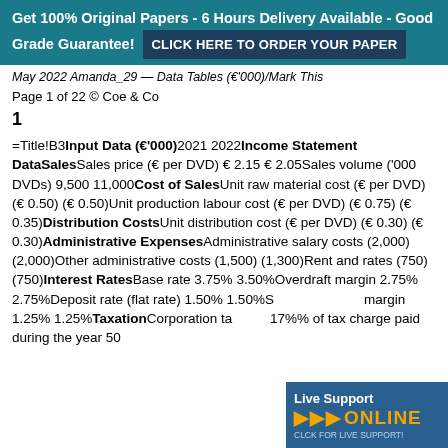Get 100% Original Papers - 6 Hours Delivery Available - Good Grade Guarantee! CLICK HERE TO ORDER YOUR PAPER
May 2022 Amanda_29 — Data Tables (€'000)/Mark This
Page 1 of 22 © Coe & Co
1
=Title!B3Input Data (€'000)2021 2022Income Statement DataSalesSales price (€ per DVD) € 2.15 € 2.05Sales volume ('000 DVDs) 9,500 11,000Cost of SalesUnit raw material cost (€ per DVD) (€ 0.50) (€ 0.50)Unit production labour cost (€ per DVD) (€ 0.75) (€ 0.35)Distribution CostsUnit distribution cost (€ per DVD) (€ 0.30) (€ 0.30)Administrative ExpensesAdministrative salary costs (2,000) (2,000)Other administrative costs (1,500) (1,300)Rent and rates (750) (750)Interest RatesBase rate 3.75% 3.50%Overdraft margin 2.75% 2.75%Deposit rate (flat rate) 1.50% 1.50%Savings deposit margin 1.25% 1.25%TaxationCorporation ta... 17%% of tax charge paid during the year 50